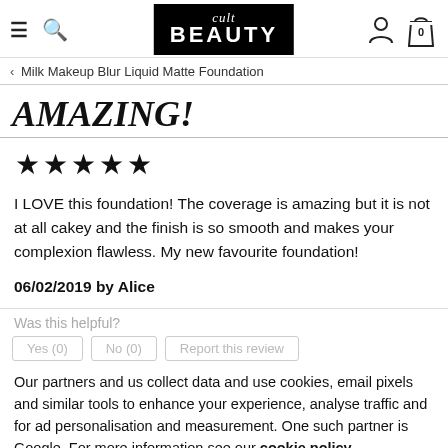cult BEAUTY — navigation header with hamburger, search, account, and cart (0)
< Milk Makeup Blur Liquid Matte Foundation
AMAZING!
★★★★★
I LOVE this foundation! The coverage is amazing but it is not at all cakey and the finish is so smooth and makes your complexion flawless. My new favourite foundation!
06/02/2019 by Alice
Was this helpful?
Our partners and us collect data and use cookies, email pixels and similar tools to enhance your experience, analyse traffic and for ad personalisation and measurement. One such partner is Google. For more information see our cookie policy
OK